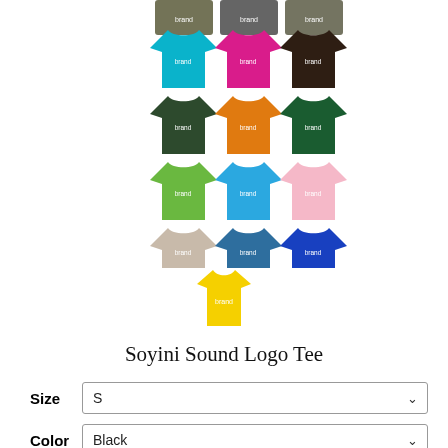[Figure (illustration): Grid of t-shirt color variants for Soyini Sound Logo Tee: row 1 (partial top): 3 dark shirts; row 2: cyan/teal, magenta/pink, dark brown; row 3: dark green, orange, forest green; row 4: lime green, sky blue, light pink; row 5: beige/tan, steel blue, royal blue; row 6: yellow (center only)]
Soyini Sound Logo Tee
Size  S
Color  Black